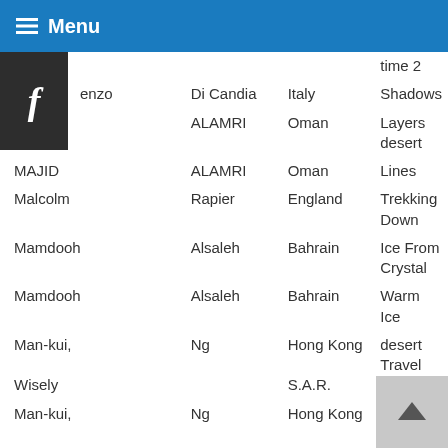Menu
| First Name | Last Name | Country | Title |
| --- | --- | --- | --- |
|  |  |  | time 2 |
| enzo | Di Candia | Italy | Shadows |
| MAJID | ALAMRI | Oman | Layers desert |
| MAJID | ALAMRI | Oman | Lines |
| Malcolm | Rapier | England | Trekking Down |
| Mamdooh | Alsaleh | Bahrain | Ice From Crystal |
| Mamdooh | Alsaleh | Bahrain | Warm Ice |
| Man-kui, Wisely | Ng | Hong Kong S.A.R. | desert Travel |
| Man-kui, Wisely | Ng | Hong Kong S.A.R. | Warship rock sunrise |
| Man-kui, Wisely | Ng | Hong Kong S.A.R. | going home |
| Man-kui, Wisely | Ng | Hong Kong S.A.R. | Pine trees in mist |